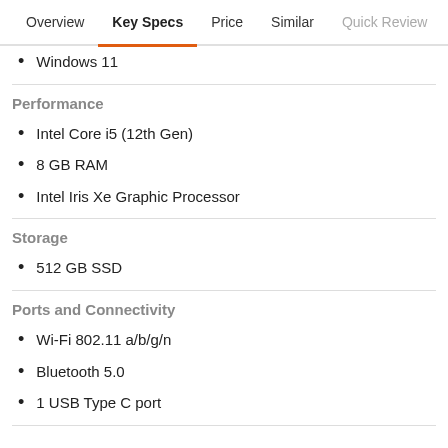Overview  Key Specs  Price  Similar  Quick Review  User
Windows 11
Performance
Intel Core i5 (12th Gen)
8 GB RAM
Intel Iris Xe Graphic Processor
Storage
512 GB SSD
Ports and Connectivity
Wi-Fi 802.11 a/b/g/n
Bluetooth 5.0
1 USB Type C port